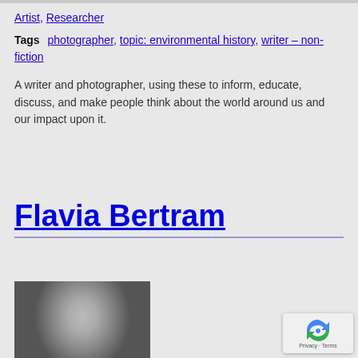Artist, Researcher
Tags  photographer, topic: environmental history, writer – non-fiction
A writer and photographer, using these to inform, educate, discuss, and make people think about the world around us and our impact upon it.
Flavia Bertram
[Figure (photo): Black and white portrait photo of a woman with wind-blown hair and open mouth expression]
[Figure (other): Google reCAPTCHA privacy badge with Privacy - Terms text]